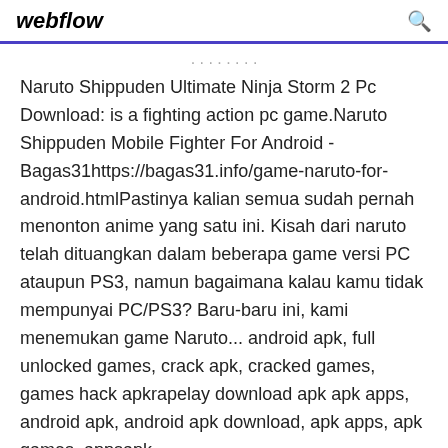webflow
Naruto Shippuden Ultimate Ninja Storm 2 Pc Download: is a fighting action pc game.Naruto Shippuden Mobile Fighter For Android - Bagas31https://bagas31.info/game-naruto-for-android.htmlPastinya kalian semua sudah pernah menonton anime yang satu ini. Kisah dari naruto telah dituangkan dalam beberapa game versi PC ataupun PS3, namun bagaimana kalau kamu tidak mempunyai PC/PS3? Baru-baru ini, kami menemukan game Naruto... android apk, full unlocked games, crack apk, cracked games, games hack apkrapelay download apk apk apps, android apk, android apk download, apk apps, apk games, appsapk